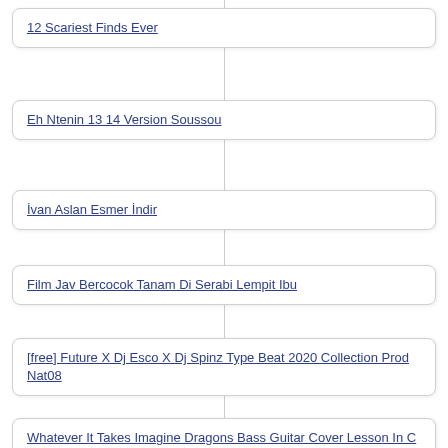12 Scariest Finds Ever
Eh Ntenin 13 14 Version Soussou
İvan Aslan Esmer İndir
Film Jav Bercocok Tanam Di Serabi Lempit Ibu
[free] Future X Dj Esco X Dj Spinz Type Beat 2020 Collection Prod Nat08
Whatever It Takes Imagine Dragons Bass Guitar Cover Lesson In C With Chords Lyrics